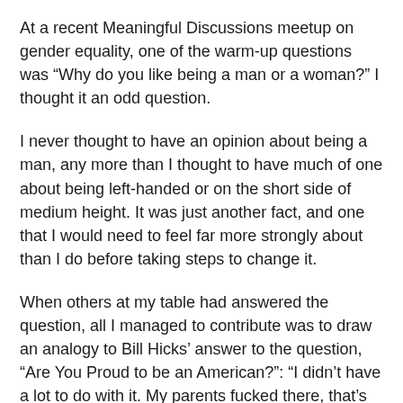At a recent Meaningful Discussions meetup on gender equality, one of the warm-up questions was “Why do you like being a man or a woman?” I thought it an odd question.
I never thought to have an opinion about being a man, any more than I thought to have much of one about being left-handed or on the short side of medium height. It was just another fact, and one that I would need to feel far more strongly about than I do before taking steps to change it.
When others at my table had answered the question, all I managed to contribute was to draw an analogy to Bill Hicks’ answer to the question, “Are You Proud to be an American?”: “I didn’t have a lot to do with it. My parents fucked there, that’s about all.”